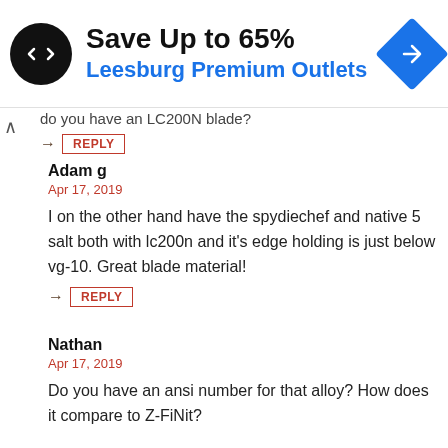[Figure (other): Advertisement banner: black circular logo with double arrows, text 'Save Up to 65%' and 'Leesburg Premium Outlets' in blue, blue diamond navigation icon on right]
do you have an LC200N blade?
→ REPLY
Adam g
Apr 17, 2019
I on the other hand have the spydiechef and native 5 salt both with lc200n and it's edge holding is just below vg-10. Great blade material!
→ REPLY
Nathan
Apr 17, 2019
Do you have an ansi number for that alloy? How does it compare to Z-FiNit?